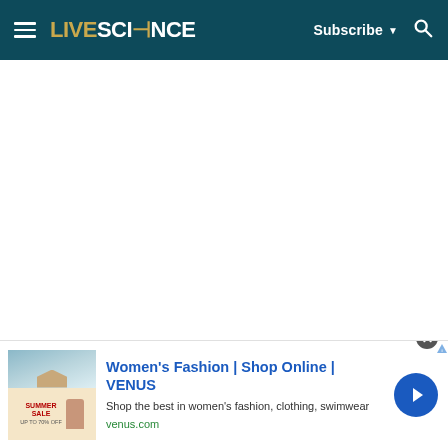LIVESCIENCE — Subscribe — Search
[Figure (screenshot): White empty content area (article page body, no content loaded)]
[Figure (screenshot): Advertisement banner for VENUS women's fashion with Summer Sale image, title 'Women's Fashion | Shop Online | VENUS', description 'Shop the best in women's fashion, clothing, swimwear', link 'venus.com', and a blue circular arrow button.]